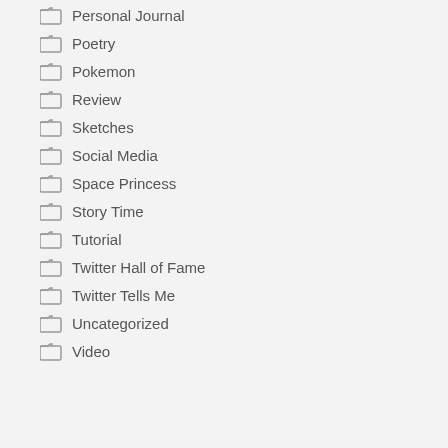Personal Journal
Poetry
Pokemon
Review
Sketches
Social Media
Space Princess
Story Time
Tutorial
Twitter Hall of Fame
Twitter Tells Me
Uncategorized
Video